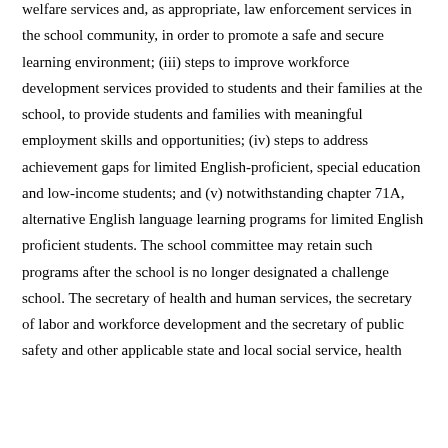welfare services and, as appropriate, law enforcement services in the school community, in order to promote a safe and secure learning environment; (iii) steps to improve workforce development services provided to students and their families at the school, to provide students and families with meaningful employment skills and opportunities; (iv) steps to address achievement gaps for limited English-proficient, special education and low-income students; and (v) notwithstanding chapter 71A, alternative English language learning programs for limited English proficient students. The school committee may retain such programs after the school is no longer designated a challenge school. The secretary of health and human services, the secretary of labor and workforce development and the secretary of public safety and other applicable state and local social service, health